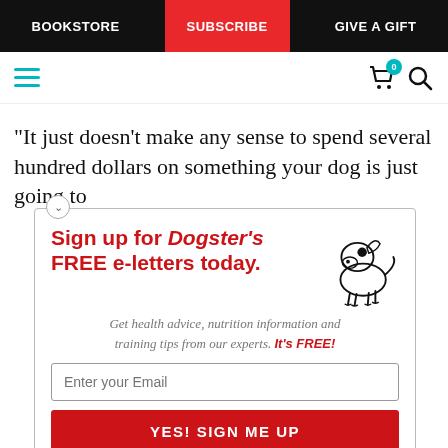BOOKSTORE | SUBSCRIBE | GIVE A GIFT
[Figure (screenshot): Navigation bar with hamburger menu (teal lines), cart icon with badge 0, and search icon]
“It just doesn’t make any sense to spend several hundred dollars on something your dog is just going to
[Figure (infographic): Dogster sign-up popup with dog illustration. Heading: Sign up for Dogster’s FREE e-letters today. Subtext: Get health advice, nutrition information and training tips from our experts. It’s FREE! Email input field and YES! SIGN ME UP button.]